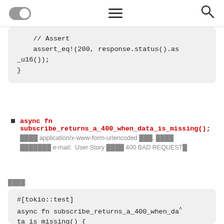[toggle] [hamburger menu] [search]
// Assert
    assert_eq!(200, response.status().as_u16());
}
async fn subscribe_returns_a_400_when_data_is_missing(); ████ application/x-www-form-urlencoded ███, ████ ███████ e-mail; User Story ████ 400 BAD REQUEST█
████:
#[tokio::test]
async fn subscribe_returns_a_400_when_da^
ta_is_missing() {